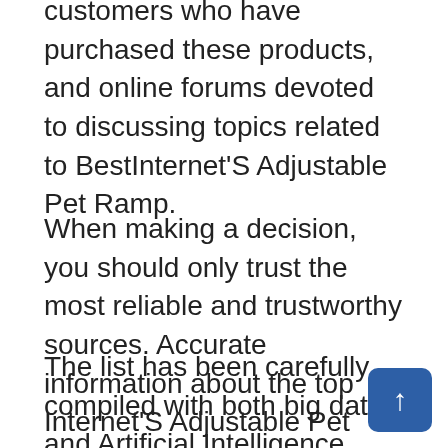media, rating websites, testimonials from previous customers who have purchased these products, and online forums devoted to discussing topics related to BestInternet'S Adjustable Pet Ramp.
When making a decision, you should only trust the most reliable and trustworthy sources. Accurate information about the top Internet'S Adjustable Pet Ramp is contained in our library. We use cutting-edge technologies to create our guides so you can be sure of what you are getting.
The list has been carefully compiled with both big data and Artificial Intelligence. Each category has top 10 lists that we use. There are many more options than just these two at the moment and they will change frequently based on how fast technology...